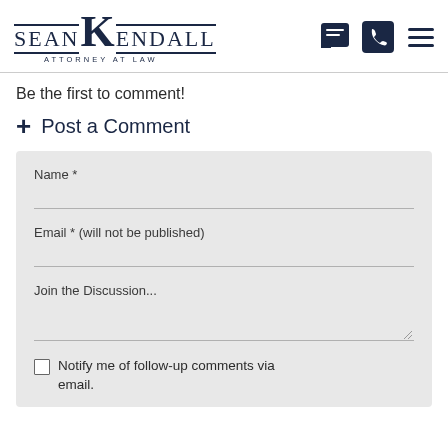[Figure (logo): Sean Kendall Attorney at Law logo with stylized K and navigation icons (chat, phone, hamburger menu)]
Be the first to comment!
+ Post a Comment
Name *
Email * (will not be published)
Join the Discussion...
Notify me of follow-up comments via email.